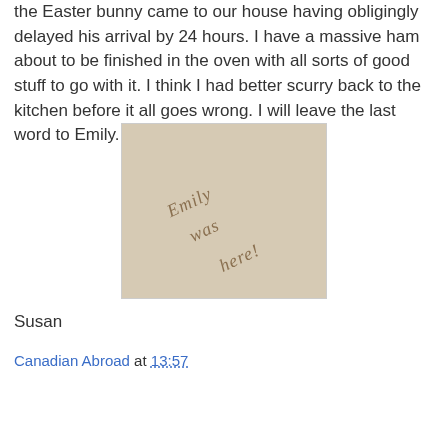the Easter bunny came to our house having obligingly delayed his arrival by 24 hours. I have a massive ham about to be finished in the oven with all sorts of good stuff to go with it. I think I had better scurry back to the kitchen before it all goes wrong. I will leave the last word to Emily.
[Figure (photo): A photo of text written in sand reading 'Emily was here!']
Susan
Canadian Abroad at 13:57
Share